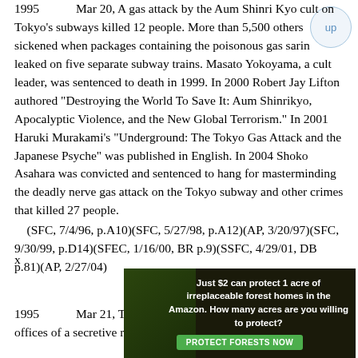1995	Mar 20, A gas attack by the Aum Shinri Kyo cult on Tokyo's subways killed 12 people. More than 5,500 others sickened when packages containing the poisonous gas sarin leaked on five separate subway trains. Masato Yokoyama, a cult leader, was sentenced to death in 1999. In 2000 Robert Jay Lifton authored "Destroying the World To Save It: Aum Shinrikyo, Apocalyptic Violence, and the New Global Terrorism." In 2001 Haruki Murakami's "Underground: The Tokyo Gas Attack and the Japanese Psyche" was published in English. In 2004 Shoko Asahara was convicted and sentenced to hang for masterminding the deadly nerve gas attack on the Tokyo subway and other crimes that killed 27 people.
    (SFC, 7/4/96, p.A10)(SFC, 5/27/98, p.A12)(AP, 3/20/97)(SFC, 9/30/99, p.D14)(SFEC, 1/16/00, BR p.9)(SSFC, 4/29/01, DB p.81)(AP, 2/27/04)
1995	Mar 21, Thousands of Japanese police raided the offices of a secretive religious group
[Figure (photo): Advertisement banner: 'Just $2 can protect 1 acre of irreplaceable forest homes in the Amazon. How many acres are you willing to protect?' with a green PROTECT FORESTS NOW button and a nature/forest background image.]